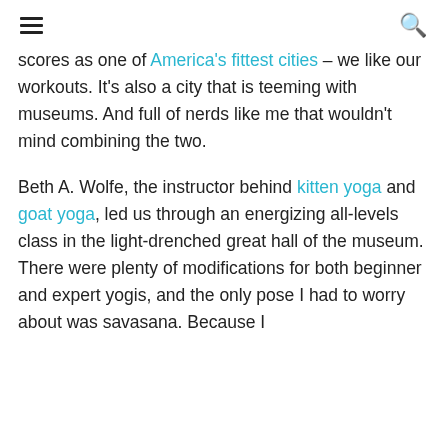[hamburger menu] [search icon]
scores as one of America's fittest cities – we like our workouts. It's also a city that is teeming with museums. And full of nerds like me that wouldn't mind combining the two.
Beth A. Wolfe, the instructor behind kitten yoga and goat yoga, led us through an energizing all-levels class in the light-drenched great hall of the museum. There were plenty of modifications for both beginner and expert yogis, and the only pose I had to worry about was savasana. Because I